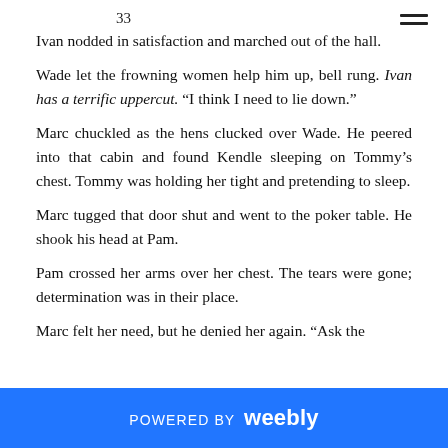33
Ivan nodded in satisfaction and marched out of the hall.
Wade let the frowning women help him up, bell rung. Ivan has a terrific uppercut. “I think I need to lie down.”
Marc chuckled as the hens clucked over Wade. He peered into that cabin and found Kendle sleeping on Tommy’s chest. Tommy was holding her tight and pretending to sleep.
Marc tugged that door shut and went to the poker table. He shook his head at Pam.
Pam crossed her arms over her chest. The tears were gone; determination was in their place.
Marc felt her need, but he denied her again. “Ask the
POWERED BY weebly